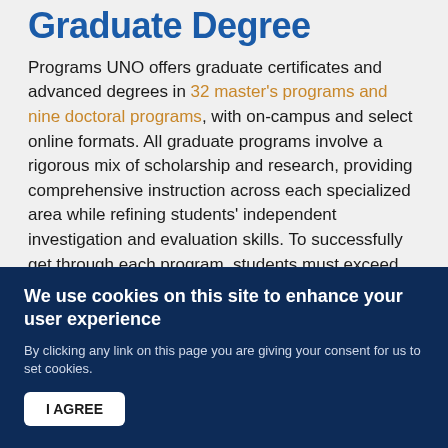Graduate Degree
Programs UNO offers graduate certificates and advanced degrees in 32 master's programs and nine doctoral programs, with on-campus and select online formats. All graduate programs involve a rigorous mix of scholarship and research, providing comprehensive instruction across each specialized area while refining students' independent investigation and evaluation skills. To successfully get through each program, students must exceed all minimum requirements, demonstrating mastery of all subject matters in exams, research, and presentations.
We use cookies on this site to enhance your user experience
By clicking any link on this page you are giving your consent for us to set cookies.
I AGREE